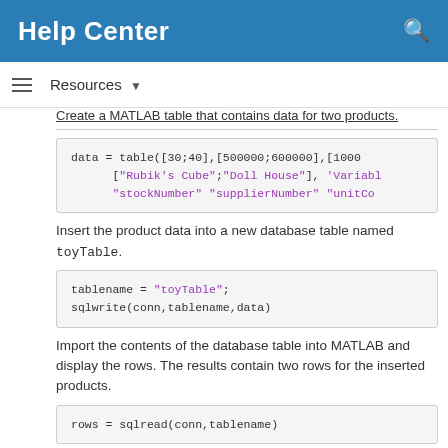Help Center
Resources ▾
Create a MATLAB table that contains data for two products.
data = table([30;40],[500000;600000],[1000
    ["Rubik's Cube";"Doll House"], 'Variabl
    "stockNumber" "supplierNumber" "unitCo
Insert the product data into a new database table named toyTable.
tablename = "toyTable";
sqlwrite(conn,tablename,data)
Import the contents of the database table into MATLAB and display the rows. The results contain two rows for the inserted products.
rows = sqlread(conn,tablename)
rows=2×5 table